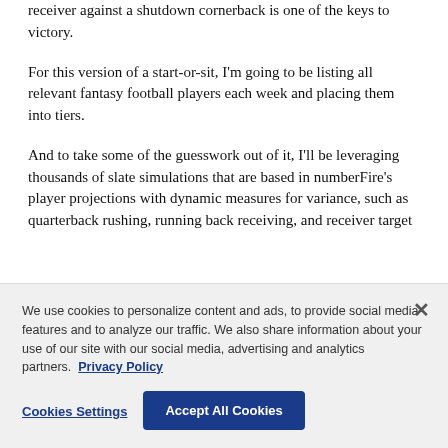receiver against a shutdown cornerback is one of the keys to victory.
For this version of a start-or-sit, I'm going to be listing all relevant fantasy football players each week and placing them into tiers.
And to take some of the guesswork out of it, I'll be leveraging thousands of slate simulations that are based in numberFire's player projections with dynamic measures for variance, such as quarterback rushing, running back receiving, and receiver target
We use cookies to personalize content and ads, to provide social media features and to analyze our traffic. We also share information about your use of our site with our social media, advertising and analytics partners. Privacy Policy
Cookies Settings
Accept All Cookies